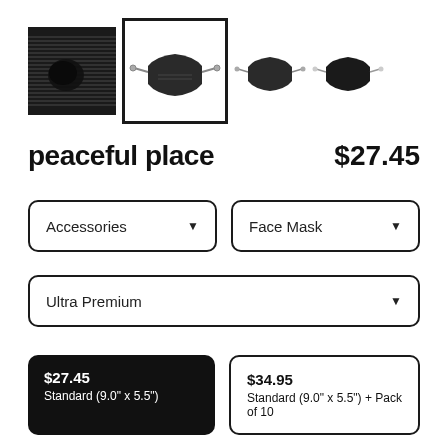[Figure (screenshot): Product thumbnail images showing face mask from different angles: first thumbnail is black square with graphic design, second is selected (white border) showing face mask side view, third and fourth are smaller views of face mask front and side on white background]
peaceful place
$27.45
Accessories
Face Mask
Ultra Premium
$27.45
Standard (9.0" x 5.5")
$34.95
Standard (9.0" x 5.5") + Pack of 10